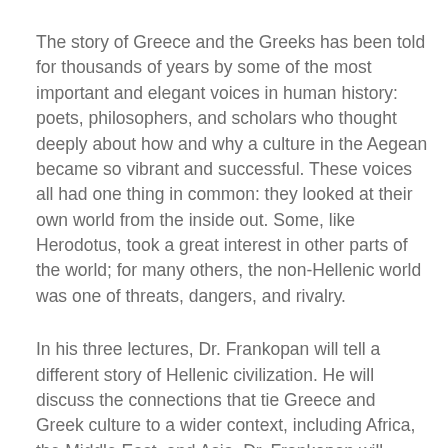The story of Greece and the Greeks has been told for thousands of years by some of the most important and elegant voices in human history: poets, philosophers, and scholars who thought deeply about how and why a culture in the Aegean became so vibrant and successful. These voices all had one thing in common: they looked at their own world from the inside out. Some, like Herodotus, took a great interest in other parts of the world; for many others, the non-Hellenic world was one of threats, dangers, and rivalry.
In his three lectures, Dr. Frankopan will tell a different story of Hellenic civilization. He will discuss the connections that tie Greece and Greek culture to a wider context, including Africa, the Middle East, and Asia. Dr. Frankopan will explore how Greek ideas and thought were formed by influences,